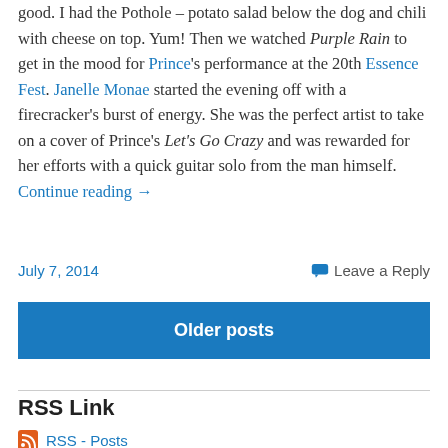good. I had the Pothole – potato salad below the dog and chili with cheese on top. Yum! Then we watched Purple Rain to get in the mood for Prince's performance at the 20th Essence Fest. Janelle Monae started the evening off with a firecracker's burst of energy. She was the perfect artist to take on a cover of Prince's Let's Go Crazy and was rewarded for her efforts with a quick guitar solo from the man himself. Continue reading →
July 7, 2014    Leave a Reply
Older posts
RSS Link
RSS - Posts